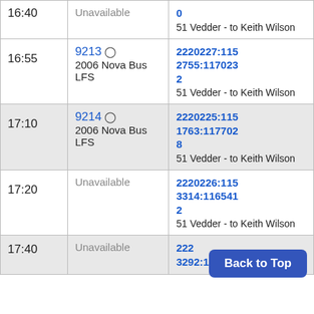| Time | Vehicle | Trip |
| --- | --- | --- |
| 16:40 | Unavailable | 0
51 Vedder - to Keith Wilson |
| 16:55 | 9213 ⊙
2006 Nova Bus LFS | 2220227:1152755:1170232
51 Vedder - to Keith Wilson |
| 17:10 | 9214 ⊙
2006 Nova Bus LFS | 2220225:1151763:1177028
51 Vedder - to Keith Wilson |
| 17:20 | Unavailable | 2220226:1153314:1165412
51 Vedder - to Keith Wilson |
| 17:40 | Unavailable | 222...
3292:117964 |